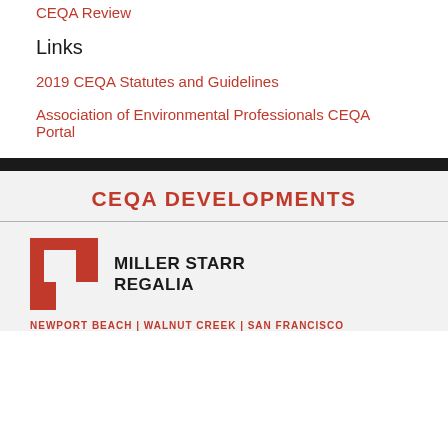CEQA Review
Links
2019 CEQA Statutes and Guidelines
Association of Environmental Professionals CEQA Portal
CEQA DEVELOPMENTS
[Figure (logo): Miller Starr Regalia law firm logo: a red square bracket/frame icon on the left, with firm name MILLER STARR REGALIA in bold black text on the right]
NEWPORT BEACH | WALNUT CREEK | SAN FRANCISCO